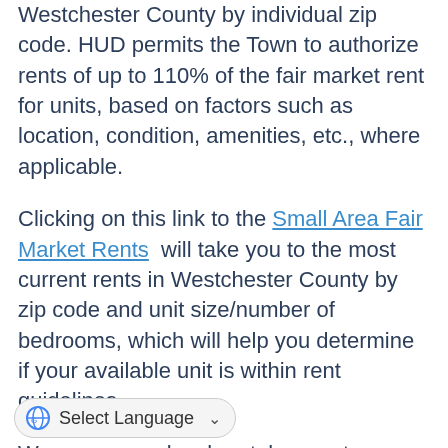Westchester County by individual zip code. HUD permits the Town to authorize rents of up to 110% of the fair market rent for units, based on factors such as location, condition, amenities, etc., where applicable.
Clicking on this link to the Small Area Fair Market Rents will take you to the most current rents in Westchester County by zip code and unit size/number of bedrooms, which will help you determine if your available unit is within rent guidelines.
We encourage local rental property owners to review the information below to learn about participating in the Housing Choice Voucher Program. If you have a vacant apartment and would like to list it for free with our office, please complete the Available Apartment Listing Form below and fax it to us at (914) 381-7855.